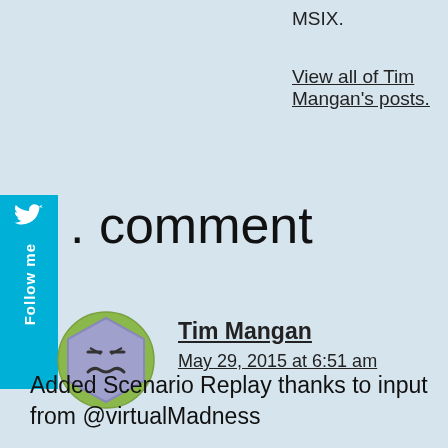MSIX.
View all of Tim Mangan's posts.
. comment
[Figure (illustration): Twitter follow me sidebar button with bird icon in cyan/blue]
[Figure (illustration): User avatar: hexagonal icon with cartoon sad face on green circle background]
Tim Mangan
May 29, 2015 at 6:51 am
Added Scenario Replay thanks to input from @virtualMadness